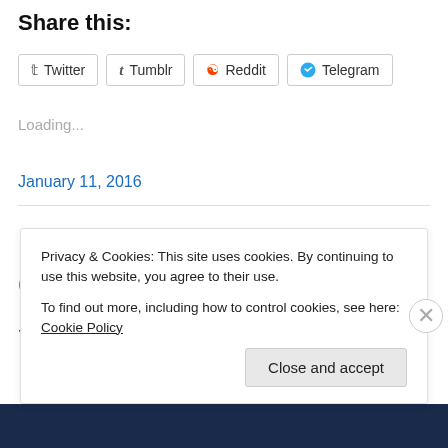Share this:
Twitter
Tumblr
Reddit
Telegram
Loading...
January 11, 2016
Fish Out of Water – Chris Squire [#475]
Privacy & Cookies: This site uses cookies. By continuing to use this website, you agree to their use.
To find out more, including how to control cookies, see here: Cookie Policy
Close and accept